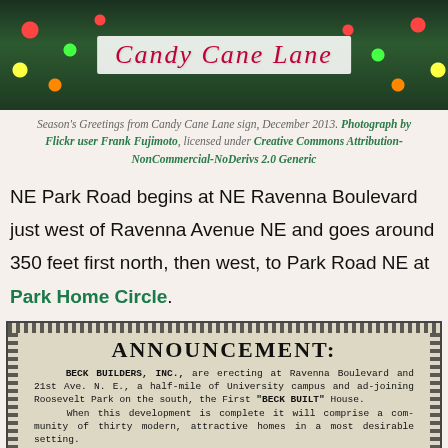[Figure (photo): Christmas lights and decorations on dark background with a white banner sign reading 'Candy Cane Lane' in red cursive script]
Season's Greetings from Candy Cane Lane sign, December 2013. Photograph by Flickr user Frank Fujimoto, licensed under Creative Commons Attribution-NonCommercial-NoDerivs 2.0 Generic
NE Park Road begins at NE Ravenna Boulevard just west of Ravenna Avenue NE and goes around 350 feet first north, then west, to Park Road NE at Park Home Circle.
[Figure (photo): Scanned newspaper advertisement clipping with dotted border. Heading: ANNOUNCEMENT: Text: BECK BUILDERS, INC., are erecting at Ravenna Boulevard and 21st Ave. N. E., a half-mile of University campus and adjoining Roosevelt Park on the south, the First "BECK BUILT" House. When this development is complete it will comprise a community of thirty modern, attractive homes in a most desirable setting.]